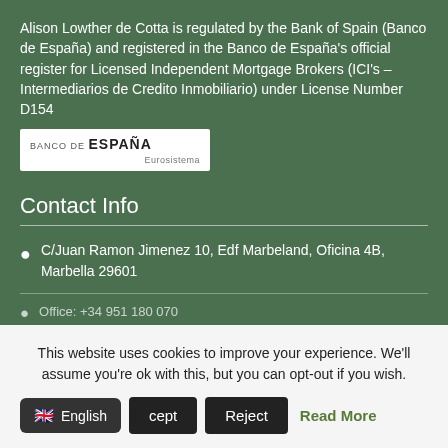Alison Lowther de Cotta is regulated by the Bank of Spain (Banco de España) and registered in the Banco de España's official register for Licensed Independent Mortgage Brokers (ICI's – Intermediarios de Credito Inmobiliario) under License Number D154
[Figure (logo): Banco de España Eurosistema logo — white background with text 'BANCO DE ESPAÑA' and 'Eurosistema' below]
Contact Info
C/Juan Ramon Jimenez 10, Edf Marbeland, Oficina 4B, Marbella 29601
Office: +34 951 180 070
This website uses cookies to improve your experience. We'll assume you're ok with this, but you can opt-out if you wish.